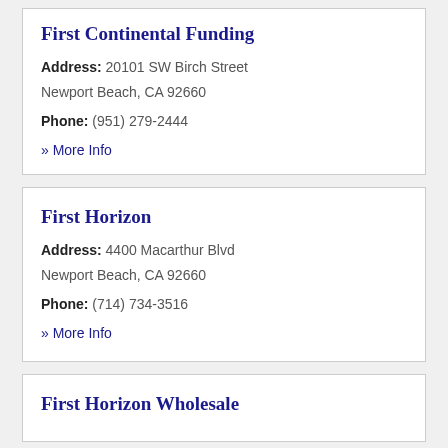First Continental Funding
Address: 20101 SW Birch Street Newport Beach, CA 92660
Phone: (951) 279-2444
» More Info
First Horizon
Address: 4400 Macarthur Blvd Newport Beach, CA 92660
Phone: (714) 734-3516
» More Info
First Horizon Wholesale